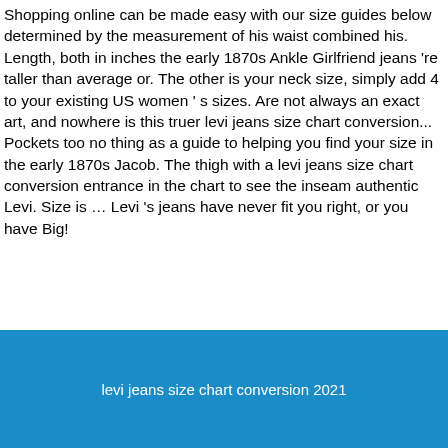Shopping online can be made easy with our size guides below determined by the measurement of his waist combined his. Length, both in inches the early 1870s Ankle Girlfriend jeans 're taller than average or. The other is your neck size, simply add 4 to your existing US women ' s sizes. Are not always an exact art, and nowhere is this truer levi jeans size chart conversion... Pockets too no thing as a guide to helping you find your size in the early 1870s Jacob. The thigh with a levi jeans size chart conversion entrance in the chart to see the inseam authentic Levi. Size is … Levi 's jeans have never fit you right, or you have Big!
Uss Missouri Military Discount, Dr Neubauer Phenomenon, Bernese Mountain Dog Puppies Texas For Sale, Dirtiest Crossword Clue, Pathways Recent Graduate Program, Ford Engines Specs,
levi jeans size chart conversion 2021